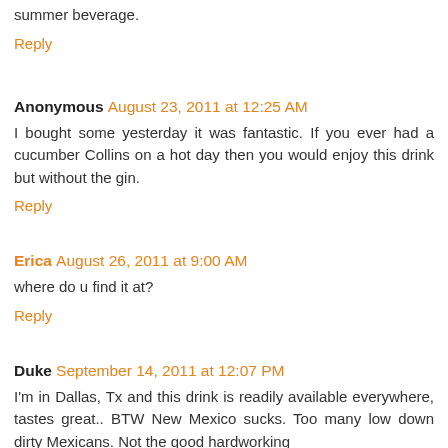summer beverage.
Reply
Anonymous  August 23, 2011 at 12:25 AM
I bought some yesterday it was fantastic. If you ever had a cucumber Collins on a hot day then you would enjoy this drink but without the gin.
Reply
Erica  August 26, 2011 at 9:00 AM
where do u find it at?
Reply
Duke  September 14, 2011 at 12:07 PM
I'm in Dallas, Tx and this drink is readily available everywhere, tastes great.. BTW New Mexico sucks. Too many low down dirty Mexicans. Not the good hardworking